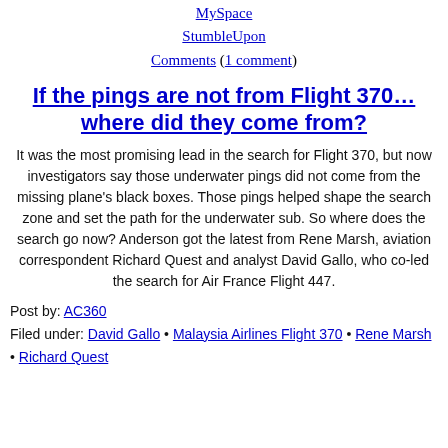MySpace
StumbleUpon
Comments (1 comment)
If the pings are not from Flight 370… where did they come from?
It was the most promising lead in the search for Flight 370, but now investigators say those underwater pings did not come from the missing plane's black boxes. Those pings helped shape the search zone and set the path for the underwater sub. So where does the search go now? Anderson got the latest from Rene Marsh, aviation correspondent Richard Quest and analyst David Gallo, who co-led the search for Air France Flight 447.
Post by: AC360
Filed under: David Gallo • Malaysia Airlines Flight 370 • Rene Marsh • Richard Quest